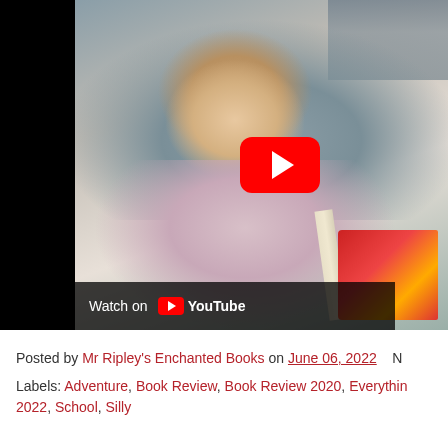[Figure (screenshot): YouTube video thumbnail showing a woman with shoulder-length blonde hair reading a book with a red cover, seated on a grey couch. A YouTube play button is overlaid on the image. A 'Watch on YouTube' bar is at the bottom left of the video. The left portion of the video is black (cropped).]
Posted by Mr Ripley's Enchanted Books on June 06, 2022   N
Labels: Adventure, Book Review, Book Review 2020, Everythin 2022, School, Silly